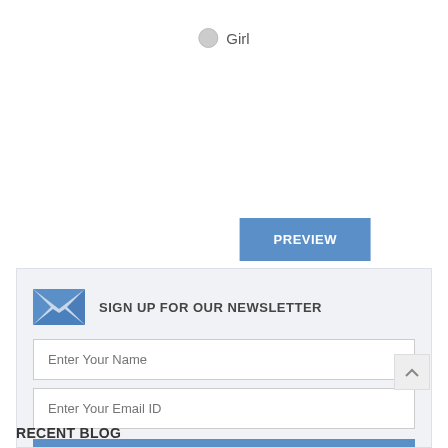Girl
[Figure (other): PREVIEW button (blue)]
[Figure (other): ADD GIFT CERTIFICATE TO CART button (dark gray)]
[Figure (other): Newsletter signup section with envelope icon, name input, email input, and SUBMIT button]
RECENT BLOG